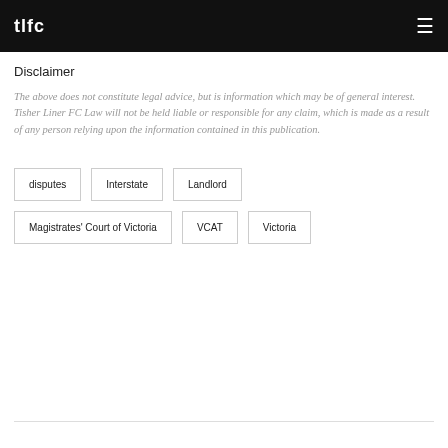tlfc
Disclaimer
The above does not constitute legal advice, but is information which may be of general interest. Tisher Liner FC Law will not be held liable or responsible for any claim, which is made as a result of any person relying upon the information contained in this publication.
disputes
Interstate
Landlord
Magistrates' Court of Victoria
VCAT
Victoria